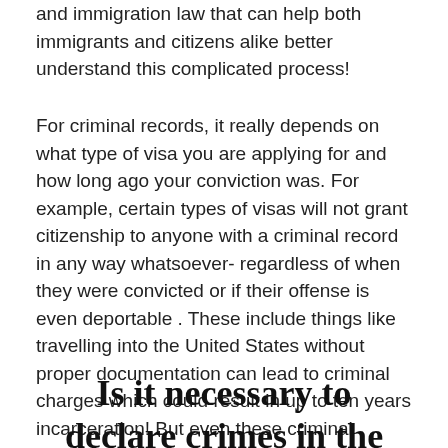and immigration law that can help both immigrants and citizens alike better understand this complicated process!
For criminal records, it really depends on what type of visa you are applying for and how long ago your conviction was. For example, certain types of visas will not grant citizenship to anyone with a criminal record in any way whatsoever- regardless of when they were convicted or if their offense is even deportable . These include things like travelling into the United States without proper documentation can lead to criminal charges which could result in up to ten years incarceration! But even these criminal convictions do not necessarily prohibit you from immigrating- depending on what category you fall under.
Is it necessary to declare crimes in the